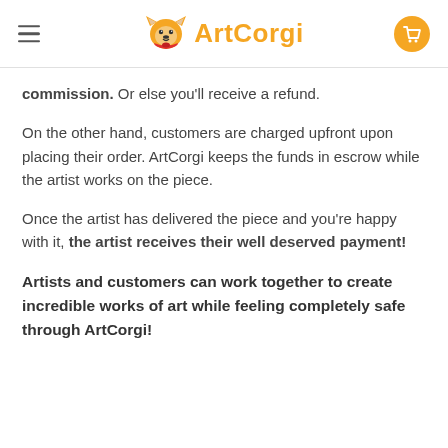ArtCorgi
commission. Or else you'll receive a refund.
On the other hand, customers are charged upfront upon placing their order. ArtCorgi keeps the funds in escrow while the artist works on the piece.
Once the artist has delivered the piece and you're happy with it, the artist receives their well deserved payment!
Artists and customers can work together to create incredible works of art while feeling completely safe through ArtCorgi!